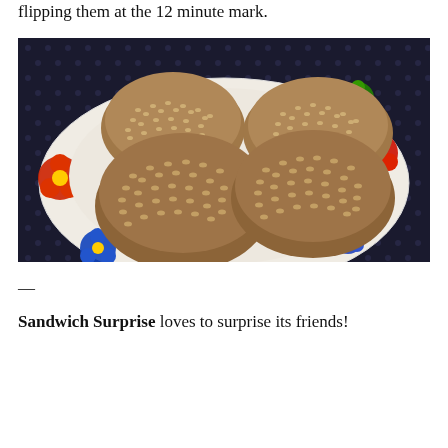flipping them at the 12 minute mark.
[Figure (photo): Four round sesame-seed-covered bread rolls on a colorful floral-patterned plate (red, blue, yellow, green flowers on white), placed on a dark polka-dot tablecloth.]
—
Sandwich Surprise loves to surprise its friends!